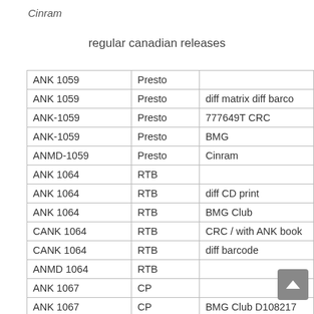Cinram
regular canadian releases
| ANK 1059 | Presto |  |
| ANK 1059 | Presto | diff matrix diff barcode |
| ANK-1059 | Presto | 777649T  CRC |
| ANK-1059 | Presto | BMG |
| ANMD-1059 | Presto | Cinram |
| ANK 1064 | RTB |  |
| ANK 1064 | RTB | diff CD print |
| ANK 1064 | RTB | BMG Club |
| CANK 1064 | RTB | CRC /  with ANK book |
| CANK 1064 | RTB | diff barcode |
| ANMD 1064 | RTB |  |
| ANK 1067 | CP |  |
| ANK 1067 | CP | BMG Club D108217 |